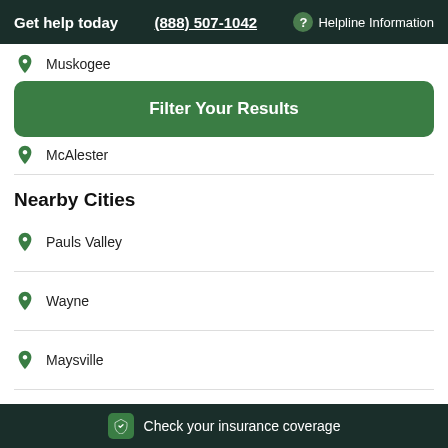Get help today | (888) 507-1042 | ? Helpline Information
Muskogee
Filter Your Results
McAlester
Nearby Cities
Pauls Valley
Wayne
Maysville
Byars
Check your insurance coverage